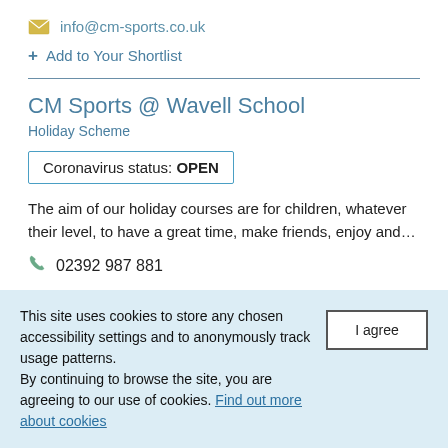info@cm-sports.co.uk
+ Add to Your Shortlist
CM Sports @ Wavell School
Holiday Scheme
Coronavirus status: OPEN
The aim of our holiday courses are for children, whatever their level, to have a great time, make friends, enjoy and…
02392 987 881
This site uses cookies to store any chosen accessibility settings and to anonymously track usage patterns.
By continuing to browse the site, you are agreeing to our use of cookies. Find out more about cookies